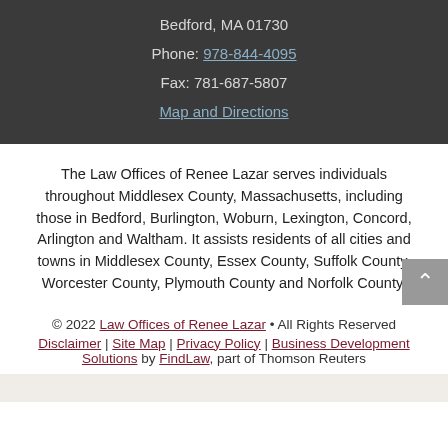Bedford, MA 01730
Phone: 978-844-4095
Fax: 781-687-5807
Map and Directions
The Law Offices of Renee Lazar serves individuals throughout Middlesex County, Massachusetts, including those in Bedford, Burlington, Woburn, Lexington, Concord, Arlington and Waltham. It assists residents of all cities and towns in Middlesex County, Essex County, Suffolk County, Worcester County, Plymouth County and Norfolk County.
© 2022 Law Offices of Renee Lazar • All Rights Reserved Disclaimer | Site Map | Privacy Policy | Business Development Solutions by FindLaw, part of Thomson Reuters